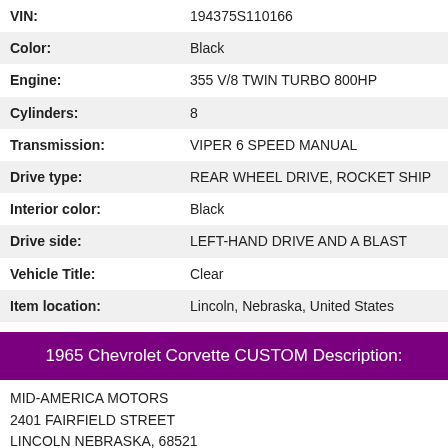| Field | Value |
| --- | --- |
| VIN: | 194375S110166 |
| Color: | Black |
| Engine: | 355 V/8 TWIN TURBO 800HP |
| Cylinders: | 8 |
| Transmission: | VIPER 6 SPEED MANUAL |
| Drive type: | REAR WHEEL DRIVE, ROCKET SHIP |
| Interior color: | Black |
| Drive side: | LEFT-HAND DRIVE AND A BLAST |
| Vehicle Title: | Clear |
| Item location: | Lincoln, Nebraska, United States |
1965 Chevrolet Corvette CUSTOM Description:
MID-AMERICA MOTORS
2401 FAIRFIELD STREET
LINCOLN NEBRASKA, 68521
OFFICE/FAX 402-477-4426
ROD'S CELL 402-560-0766 ANYTIME
FOR SALE ONE BADASS 1965 CHEVROLET CORVETTE STINGRAY RESTOMOD!!!!
HERE'S THIS BAD BOY STORY AND HANG ON IT'S A GOOD